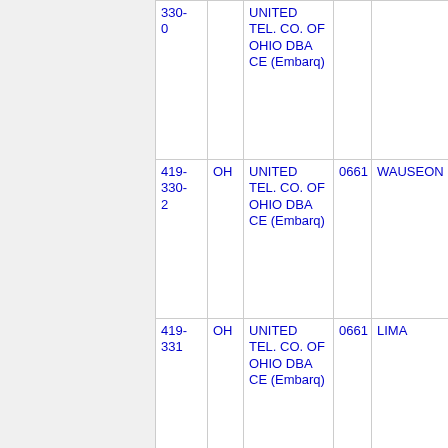| NPA-NXX | ST | Company | OCN | City |
| --- | --- | --- | --- | --- |
| 330-0 |  | UNITED TEL. CO. OF OHIO DBA CE (Embarq) | 0661 |  |
| 419-330-2 | OH | UNITED TEL. CO. OF OHIO DBA CE (Embarq) | 0661 | WAUSEON |
| 419-331 | OH | UNITED TEL. CO. OF OHIO DBA CE (Embarq) | 0661 | LIMA |
| 419-335 | OH | UNITED TEL. CO. OF OHIO DBA CE (Embarq) | 0661 | WAUSEON |